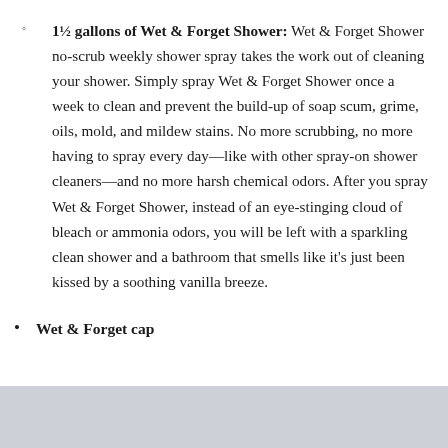1½ gallons of Wet & Forget Shower: Wet & Forget Shower no-scrub weekly shower spray takes the work out of cleaning your shower. Simply spray Wet & Forget Shower once a week to clean and prevent the build-up of soap scum, grime, oils, mold, and mildew stains. No more scrubbing, no more having to spray every day—like with other spray-on shower cleaners—and no more harsh chemical odors. After you spray Wet & Forget Shower, instead of an eye-stinging cloud of bleach or ammonia odors, you will be left with a sparkling clean shower and a bathroom that smells like it's just been kissed by a soothing vanilla breeze.
Wet & Forget cap
[Figure (photo): Light gray/blue rectangle placeholder image at the bottom of the page]